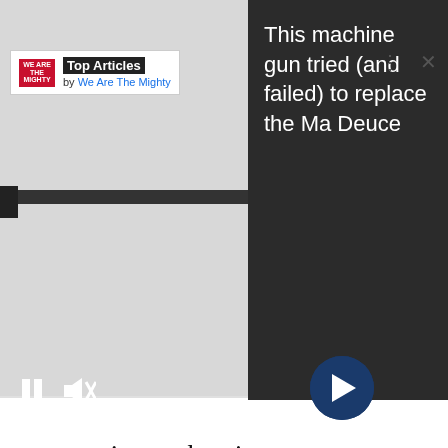[Figure (screenshot): A 'Top Articles by We Are The Mighty' widget overlay on a photo of a machine gun. The widget shows a logo, title bar, dots menu and close X button. A dark panel on the right shows the article headline: 'This machine gun tried (and failed) to replace the Ma Deuce'. Media playback controls (pause, mute) and a dark blue circular arrow/next button are visible.]
competitors when it comes to artillery. China has developed satellite-guided artillery rounds that can reach targets 40 kilometers away. The M109A7 currently has an effective range of 18 kilometers. With this in mind, the U.S. Army's top modernization priority is improving the range of its artillery, like those of